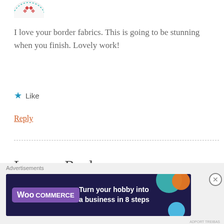[Figure (illustration): Partial circular avatar/logo with red and teal decorative pattern, cropped at top]
I love your border fabrics. This is going to be stunning when you finish. Lovely work!
★ Like
Reply
Leave a Reply
Your email address will not be published. Required fields are marked *
[Figure (screenshot): WooCommerce advertisement banner: 'Turn your hobby into a business in 8 steps' on dark navy background with teal, orange, and blue circular decorations]